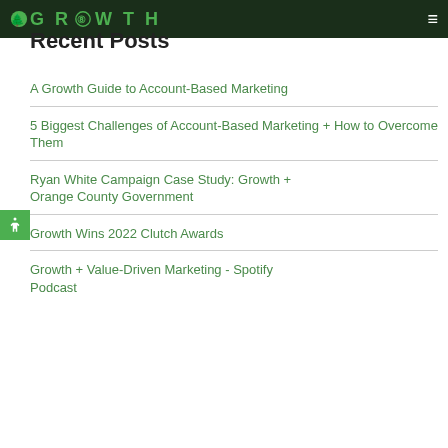GROWTH
Recent Posts
A Growth Guide to Account-Based Marketing
5 Biggest Challenges of Account-Based Marketing + How to Overcome Them
Ryan White Campaign Case Study: Growth + Orange County Government
Growth Wins 2022 Clutch Awards
Growth + Value-Driven Marketing - Spotify Podcast